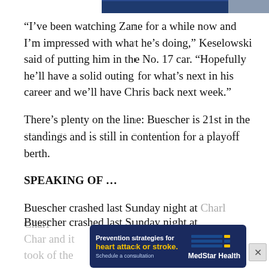[Figure (photo): Top portion of a photo showing what appears to be a building or racing-related image, partially cropped at the top edge of the page.]
“I’ve been watching Zane for a while now and I’m impressed with what he’s doing,” Keselowski said of putting him in the No. 17 car. “Hopefully he’ll have a solid outing for what’s next in his career and we’ll have Chris back next week.”
There’s plenty on the line: Buescher is 21st in the standings and is still in contention for a playoff berth.
SPEAKING OF …
Buescher crashed last Sunday night at Char… and it took … of the
[Figure (other): Advertisement banner for MedStar Health with dark blue background. Text reads: 'Prevention strategies for heart attack or stroke. Schedule a consultation' with MedStar Health logo on the right side.]